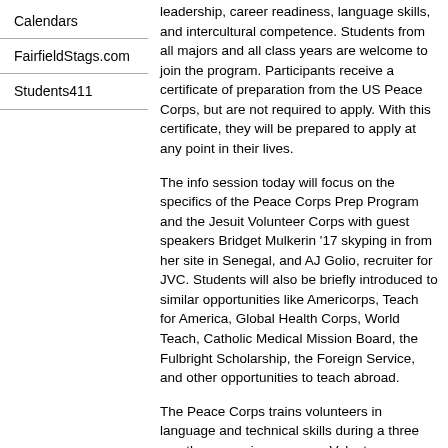Calendars
FairfieldStags.com
Students411
leadership, career readiness, language skills, and intercultural competence.  Students from all majors and all class years are welcome to join the program.  Participants receive a certificate of preparation from the US Peace Corps, but are not required to apply.  With this certificate, they will be prepared to apply at any point in their lives.
The info session today will focus on the specifics of the Peace Corps Prep Program and the Jesuit Volunteer Corps with guest speakers Bridget Mulkerin '17 skyping in from her site in Senegal, and AJ Golio, recruiter for JVC.  Students will also be briefly introduced to similar opportunities like Americorps, Teach for America, Global Health Corps, World Teach, Catholic Medical Mission Board, the Fulbright Scholarship, the Foreign Service, and other opportunities to teach abroad.
The Peace Corps trains volunteers in language and technical skills during a three month pre-service program.  Volunteers typically serve for two years in their host country.  All travel and living costs are covered by a living stipend, health care is provided, and federal loans are deferred.  Returned Peace Corps Volunteers receive a readjustment allowance, preferred federal hiring, and loan cancellation eligibility.